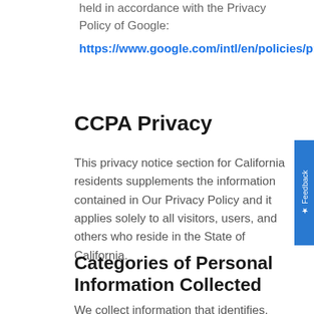held in accordance with the Privacy Policy of Google:
https://www.google.com/intl/en/policies/privacy/
CCPA Privacy
This privacy notice section for California residents supplements the information contained in Our Privacy Policy and it applies solely to all visitors, users, and others who reside in the State of California.
Categories of Personal Information Collected
We collect information that identifies, relates to, describes, references, is capable of being associated with, or could reasonably be linked, directly or indirectly, with a particular